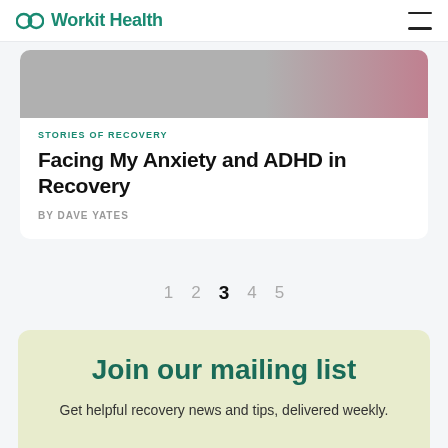Workit Health
[Figure (photo): Partial view of a person, grayscale with some color, cropped at top of card]
STORIES OF RECOVERY
Facing My Anxiety and ADHD in Recovery
BY DAVE YATES
1  2  3  4  5
Join our mailing list
Get helpful recovery news and tips, delivered weekly.